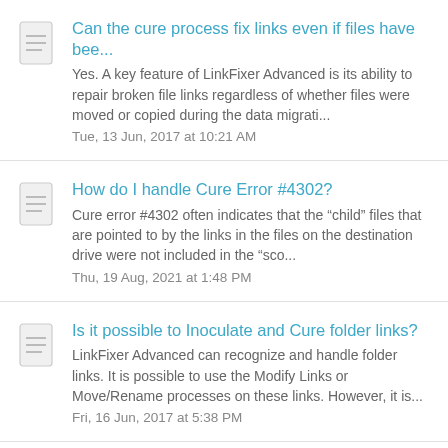Can the cure process fix links even if files have bee...
Yes. A key feature of LinkFixer Advanced is its ability to repair broken file links regardless of whether files were moved or copied during the data migrati...
Tue, 13 Jun, 2017 at 10:21 AM
How do I handle Cure Error #4302?
Cure error #4302 often indicates that the “child” files that are pointed to by the links in the files on the destination drive were not included in the "sco...
Thu, 19 Aug, 2021 at 1:48 PM
Is it possible to Inoculate and Cure folder links?
LinkFixer Advanced can recognize and handle folder links. It is possible to use the Modify Links or Move/Rename processes on these links. However, it is...
Fri, 16 Jun, 2017 at 5:38 PM
How does the cure process work if I have a lot of ch...
Question: We inoculated our files in the original location, and migrated them to a new location. But many of the child files...